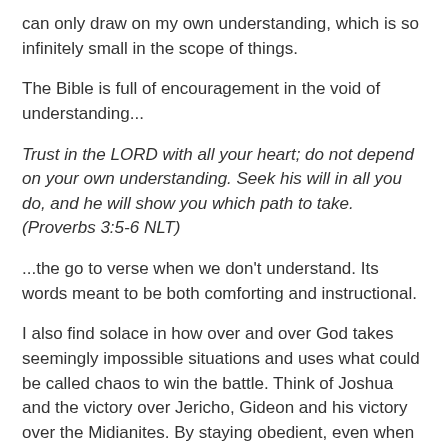can only draw on my own understanding, which is so infinitely small in the scope of things.
The Bible is full of encouragement in the void of understanding...
Trust in the LORD with all your heart; do not depend on your own understanding. Seek his will in all you do, and he will show you which path to take. (Proverbs 3:5-6 NLT)
...the go to verse when we don't understand. Its words meant to be both comforting and instructional.
I also find solace in how over and over God takes seemingly impossible situations and uses what could be called chaos to win the battle. Think of Joshua and the victory over Jericho, Gideon and his victory over the Midianites. By staying obedient, even when it went against all conventional thinking, they were given victory. God redeemed the situation!